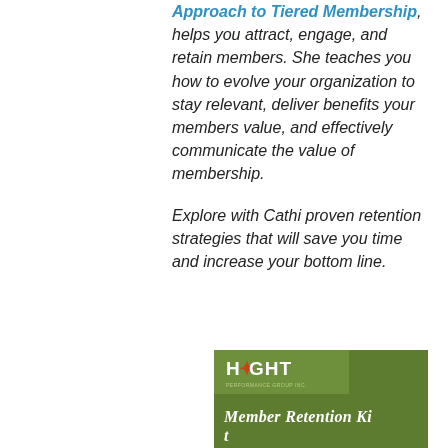Approach to Tiered Membership, helps you attract, engage, and retain members. She teaches you how to evolve your organization to stay relevant, deliver benefits your members value, and effectively communicate the value of membership.
Explore with Cathi proven retention strategies that will save you time and increase your bottom line.
[Figure (illustration): Book cover for Hight Performance Group Inc. Member Retention Kit, olive/green colored cover with company logo at top left]